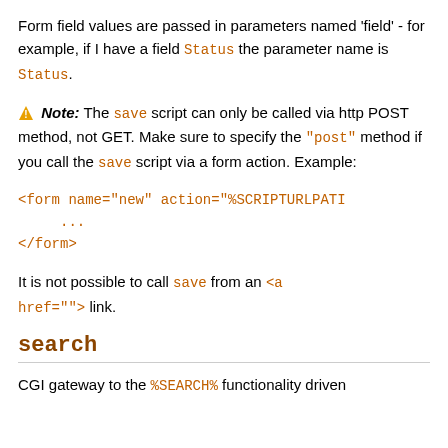Form field values are passed in parameters named 'field' - for example, if I have a field Status the parameter name is Status.
⚠ Note: The save script can only be called via http POST method, not GET. Make sure to specify the "post" method if you call the save script via a form action. Example:
<form name="new" action="%SCRIPTURLPATI
    ...
</form>
It is not possible to call save from an <a href=""> link.
search
CGI gateway to the %SEARCH% functionality driven